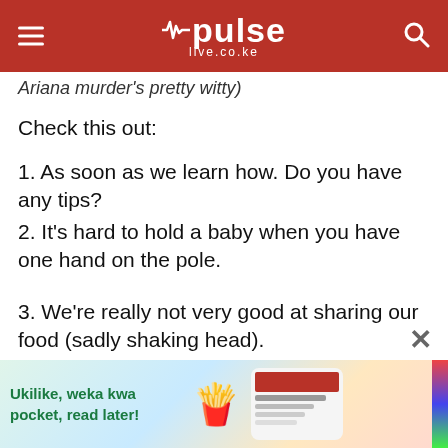pulse live.co.ke
Ariana murder's pretty witty)
Check this out:
1. As soon as we learn how. Do you have any tips?
2. It's hard to hold a baby when you have one hand on the pole.
3. We're really not very good at sharing our food (sadly shaking head).
4. I'm not a fan of people (glare and hold for a beat)—especially the short ones.
[Figure (other): Advertisement banner: 'Ukilike, weka kwa pocket, read later!' with a mascot character and a phone screenshot image]